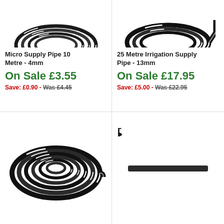[Figure (photo): Coiled black micro supply pipe 4mm, viewed from above, top portion visible]
Micro Supply Pipe 10 Metre - 4mm
On Sale £3.55
Save: £0.90 - Was £4.45
[Figure (photo): Coiled black 13mm irrigation supply pipe, 25 metre, top portion visible]
25 Metre Irrigation Supply Pipe - 13mm
On Sale £17.95
Save: £5.00 - Was £22.95
[Figure (photo): Coiled black irrigation pipe, full coil visible from above]
[Figure (photo): Row of black drip irrigation emitters/connectors on a manifold bar]